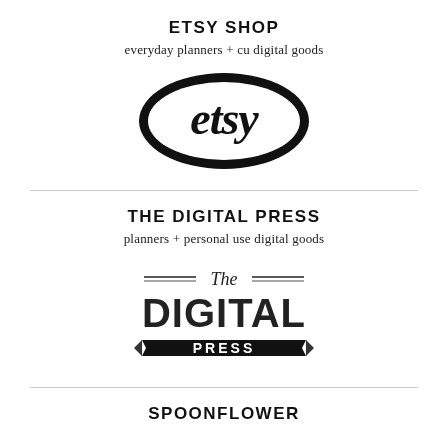ETSY SHOP
everyday planners + cu digital goods
[Figure (logo): Etsy logo — stylized script 'etsy' in white on a black oval background]
THE DIGITAL PRESS
planners + personal use digital goods
[Figure (logo): The Digital Press logo — vintage style with 'The' in script, 'DIGITAL' in large bold distressed type, and 'PRESS' on a black ribbon banner]
SPOONFLOWER